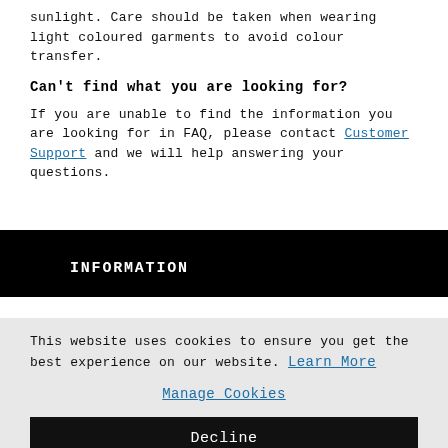sunlight. Care should be taken when wearing light coloured garments to avoid colour transfer.
Can't find what you are looking for?
If you are unable to find the information you are looking for in FAQ, please contact Customer Support and we will help answering your questions.
INFORMATION
This website uses cookies to ensure you get the best experience on our website. Learn More
Manage Cookies
Decline
Allow All
×